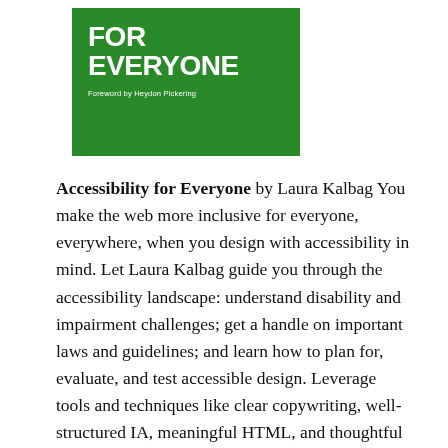[Figure (illustration): Book cover for 'Accessibility for Everyone' by Laura Kalbag, green background with white bold uppercase text]
Accessibility for Everyone by Laura Kalbag You make the web more inclusive for everyone, everywhere, when you design with accessibility in mind. Let Laura Kalbag guide you through the accessibility landscape: understand disability and impairment challenges; get a handle on important laws and guidelines; and learn how to plan for, evaluate, and test accessible design. Leverage tools and techniques like clear copywriting, well-structured IA, meaningful HTML, and thoughtful design, to create a solid set of best practices. Whether you're new to the field or a seasoned pro